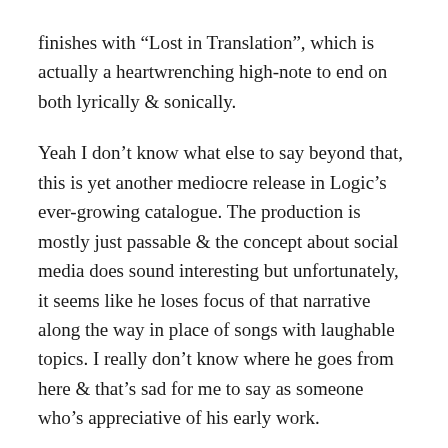finishes with “Lost in Translation”, which is actually a heartwrenching high-note to end on both lyrically & sonically.
Yeah I don’t know what else to say beyond that, this is yet another mediocre release in Logic’s ever-growing catalogue. The production is mostly just passable & the concept about social media does sound interesting but unfortunately, it seems like he loses focus of that narrative along the way in place of songs with laughable topics. I really don’t know where he goes from here & that’s sad for me to say as someone who’s appreciative of his early work.
Score: 1/5